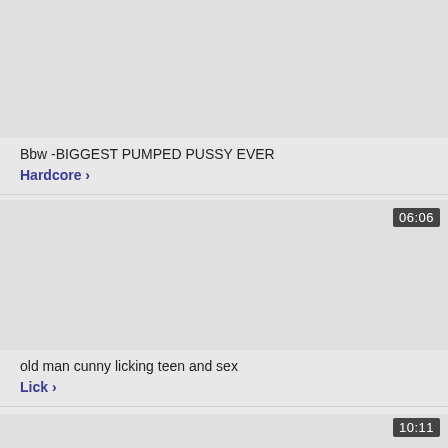[Figure (screenshot): Video thumbnail placeholder (gray rectangle) for first video]
Bbw -BIGGEST PUMPED PUSSY EVER
Hardcore >
[Figure (screenshot): Video thumbnail placeholder (gray rectangle) for second video, duration badge 06:06]
old man cunny licking teen and sex
Lick >
[Figure (screenshot): Video thumbnail placeholder (gray rectangle) for third video, duration badge 10:11]